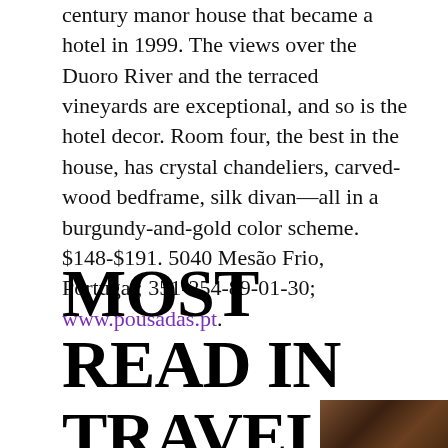century manor house that became a hotel in 1999. The views over the Duoro River and the terraced vineyards are exceptional, and so is the hotel decor. Room four, the best in the house, has crystal chandeliers, carved-wood bedframe, silk divan—all in a burgundy-and-gold color scheme. $148-$191. 5040 Mesão Frio, Portugal; 351-254-89-01-30; www.pousadas.pt.
MOST READ IN TRAVEL
[Figure (photo): Partial photo of what appears to be wooden beams or interior of a building, visible in bottom right corner]